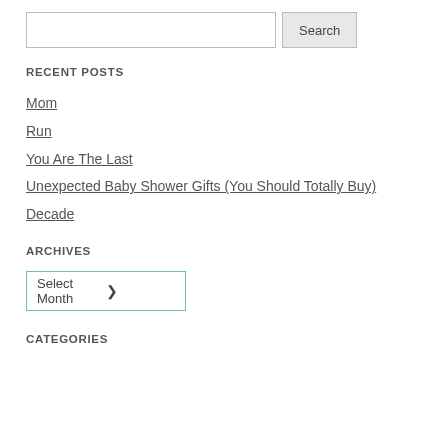[Figure (screenshot): Search input box with Search button]
RECENT POSTS
Mom
Run
You Are The Last
Unexpected Baby Shower Gifts (You Should Totally Buy)
Decade
ARCHIVES
[Figure (screenshot): Select Month dropdown]
CATEGORIES